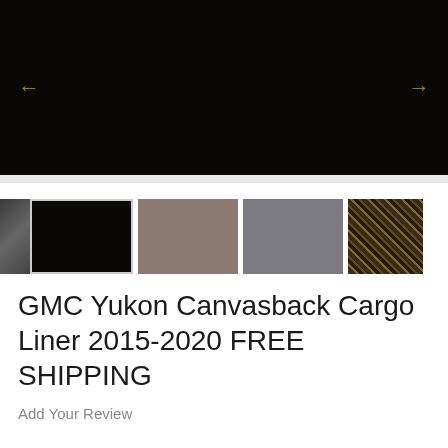[Figure (photo): Main product image showing black textured leather/fabric material close-up with left and right navigation arrows]
[Figure (photo): Thumbnail strip showing 5 color/material options: partial dark thumbnail, black, taupe/brown, gray, and camouflage pattern]
GMC Yukon Canvasback Cargo Liner 2015-2020 FREE SHIPPING
Add Your Review